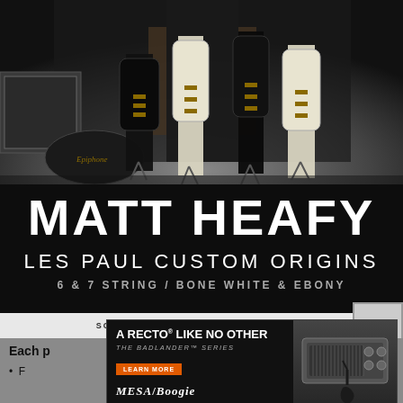[Figure (photo): Tattooed musician standing backstage surrounded by multiple electric guitars on stands including Les Paul models in black and white/bone finishes, with a guitar case visible on the floor and road cases in the background]
MATT HEAFY
LES PAUL CUSTOM ORIGINS
6 & 7 STRING / BONE WHITE & EBONY
SCROLL TO CONTINUE WITH CONTENT
[Figure (infographic): Mesa/Boogie advertisement: A RECTO LIKE NO OTHER - THE BADLANDER SERIES with LEARN MORE button and image of amplifier head with guitar]
Each p
F